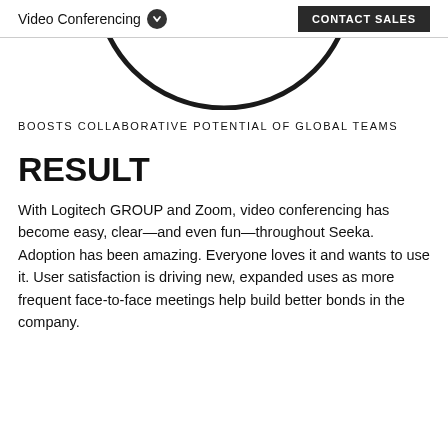Video Conferencing  CONTACT SALES
[Figure (illustration): Bottom portion of a circular ring shape, cropped at the top of the content area]
BOOSTS COLLABORATIVE POTENTIAL OF GLOBAL TEAMS
RESULT
With Logitech GROUP and Zoom, video conferencing has become easy, clear—and even fun—throughout Seeka. Adoption has been amazing. Everyone loves it and wants to use it. User satisfaction is driving new, expanded uses as more frequent face-to-face meetings help build better bonds in the company.